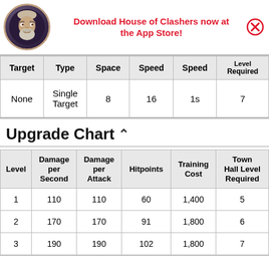[Figure (illustration): Circular avatar of a game character (barbarian-like warrior) with gray hair and beard on a dark purple background with bronze border]
Download House of Clashers now at the App Store!
| Target | Type | Space | Speed | Speed | Level Required |
| --- | --- | --- | --- | --- | --- |
| None | Single Target | 8 | 16 | 1s | 7 |
Upgrade Chart
| Level | Damage per Second | Damage per Attack | Hitpoints | Training Cost | Town Hall Level Required |
| --- | --- | --- | --- | --- | --- |
| 1 | 110 | 110 | 60 | 1,400 | 5 |
| 2 | 170 | 170 | 91 | 1,800 | 6 |
| 3 | 190 | 190 | 102 | 1,800 | 7 |